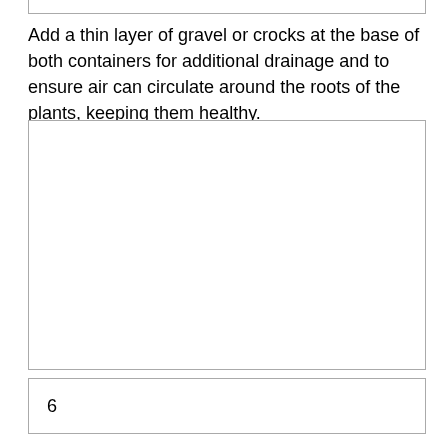[Figure (other): Bottom portion of a bordered box from previous content, cropped at top of page]
Add a thin layer of gravel or crocks at the base of both containers for additional drainage and to ensure air can circulate around the roots of the plants, keeping them healthy.
[Figure (photo): Empty bordered image placeholder box]
6
Since mint grows vigorously and could otherwise crowd out